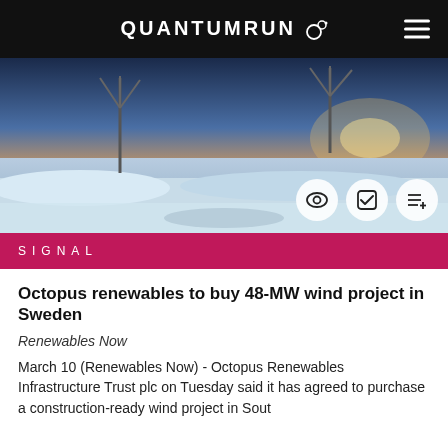QUANTUMRUN
[Figure (photo): Wind turbines in a snowy landscape at sunset/sunrise, Scandinavian scenery]
SIGNAL
Octopus renewables to buy 48-MW wind project in Sweden
Renewables Now
March 10 (Renewables Now) - Octopus Renewables Infrastructure Trust plc on Tuesday said it has agreed to purchase a construction-ready wind project in Sout
[Figure (photo): Dark background with glowing green binary numbers (0s and 1s)]